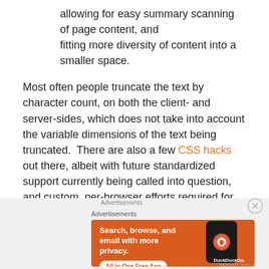allowing for easy summary scanning of page content, and
fitting more diversity of content into a smaller space.
Most often people truncate the text by character count, on both the client- and server-sides, which does not take into account the variable dimensions of the text being truncated.  There are also a few CSS hacks out there, albeit with future standardized support currently being called into question, and custom, per-browser efforts required for successful implementation.
Advertisements
[Figure (other): DuckDuckGo advertisement banner: orange background with text 'Search, browse, and email with more privacy. All in One Free App' and a phone mockup with DuckDuckGo logo]